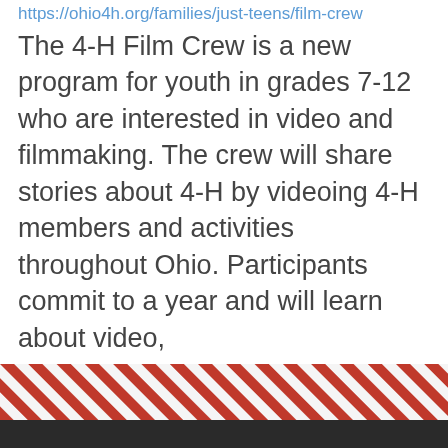https://ohio4h.org/families/just-teens/film-crew
The 4-H Film Crew is a new program for youth in grades 7-12 who are interested in video and filmmaking. The crew will share stories about 4-H by videoing 4-H members and activities throughout Ohio. Participants commit to a year and will learn about video, ...
« first ‹ previous … 5 6 7 8 9 next › last » 12 13 …